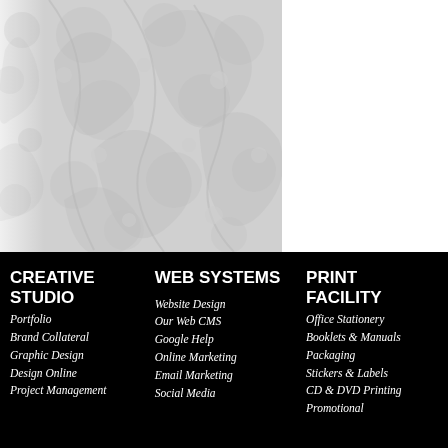[Figure (illustration): Decorative floral pattern background in light grey tones on the upper portion of the page]
CREATIVE STUDIO
Portfolio
Brand Collateral
Graphic Design
Design Online
Project Management
WEB SYSTEMS
Website Design
Our Web CMS
Google Help
Online Marketing
Email Marketing
Social Media
PRINT FACILITY
Office Stationery
Booklets & Manuals
Packaging
Stickers & Labels
CD & DVD Printing
Promotional